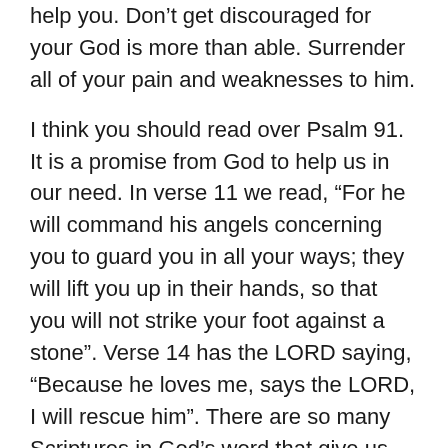help you. Don't get discouraged for your God is more than able. Surrender all of your pain and weaknesses to him.
I think you should read over Psalm 91. It is a promise from God to help us in our need. In verse 11 we read, “For he will command his angels concerning you to guard you in all your ways; they will lift you up in their hands, so that you will not strike your foot against a stone”. Verse 14 has the LORD saying, “Because he loves me, says the LORD, I will rescue him”. There are so many Scriptures in God’s word that give us hope no matter what we are facing. I have memorized 2 Timothy 1:12 myself and I repeat it when I start feeling overwhelmed. It says, “ For I know whom I have believed and I